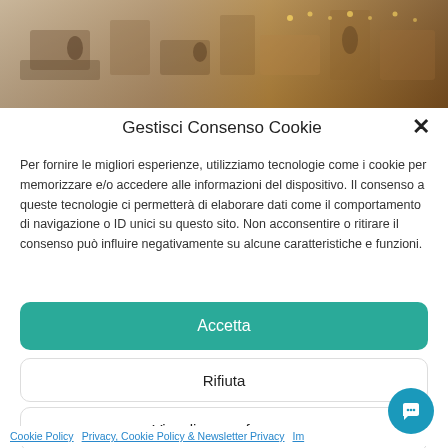[Figure (photo): Aerial/interior photo of what appears to be a restaurant or shop space, shown at the top of the page as a banner image]
Gestisci Consenso Cookie
Per fornire le migliori esperienze, utilizziamo tecnologie come i cookie per memorizzare e/o accedere alle informazioni del dispositivo. Il consenso a queste tecnologie ci permetterà di elaborare dati come il comportamento di navigazione o ID unici su questo sito. Non acconsentire o ritirare il consenso può influire negativamente su alcune caratteristiche e funzioni.
Accetta
Rifiuta
Visualizza preferenze
Cookie Policy   Privacy, Cookie Policy & Newsletter Privacy   Im...